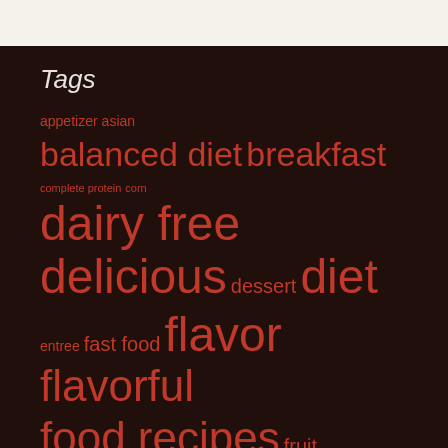Tags
appetizer asian balanced diet breakfast complete protein corn dairy free delicious dessert diet entree fast food flavor flavorful food recipes fruit garlic gluten free healthy